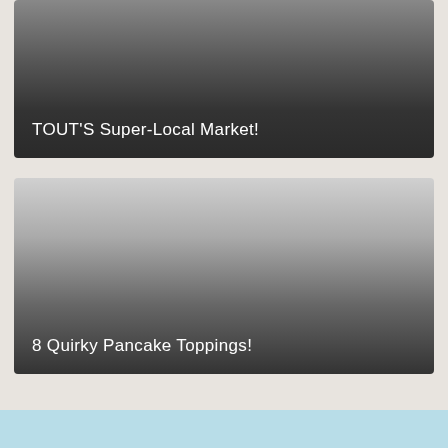[Figure (photo): Dark gradient image card with text overlay reading TOUT'S Super-Local Market!]
TOUT'S Super-Local Market!
[Figure (photo): Gray gradient image card with text overlay reading 8 Quirky Pancake Toppings!]
8 Quirky Pancake Toppings!